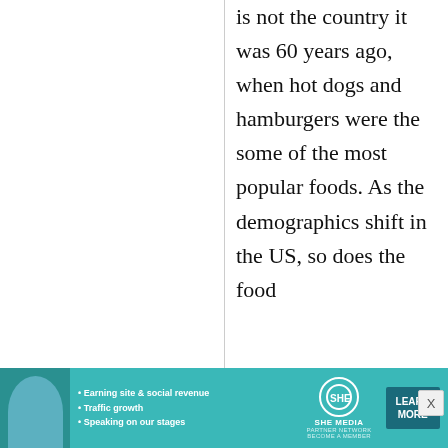is not the country it was 60 years ago, when hot dogs and hamburgers were the some of the most popular foods. As the demographics shift in the US, so does the food
[Figure (other): Advertisement banner for SHE Media Partner Network featuring a woman's photo, bullet points about earning site & social revenue, traffic growth, speaking on our stages, the SHE Media logo, and a Learn More button.]